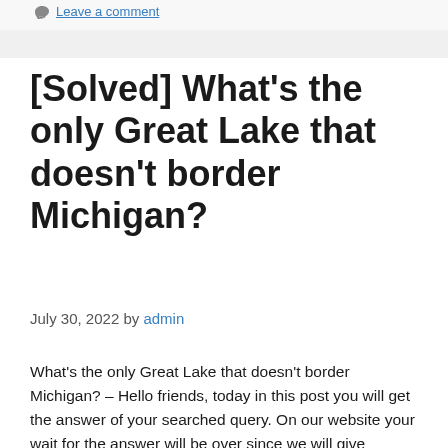Leave a comment
[Solved] What's the only Great Lake that doesn't border Michigan?
July 30, 2022 by admin
What's the only Great Lake that doesn't border Michigan? – Hello friends, today in this post you will get the answer of your searched query. On our website your wait for the answer will be over since we will give